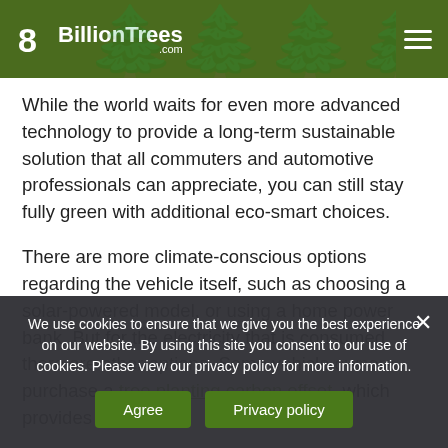8 BillionTrees .com
While the world waits for even more advanced technology to provide a long-term sustainable solution that all commuters and automotive professionals can appreciate, you can still stay fully green with additional eco-smart choices.
There are more climate-conscious options regarding the vehicle itself, such as choosing a solar-powered model, or using a home power bank. But for the electricity that is consumed, there are other options. Some vehicle owners purchase a tree planting carbon offset, which provides a
We use cookies to ensure that we give you the best experience on our website. By using this site you consent to our use of cookies. Please view our privacy policy for more information.
Agree
Privacy policy